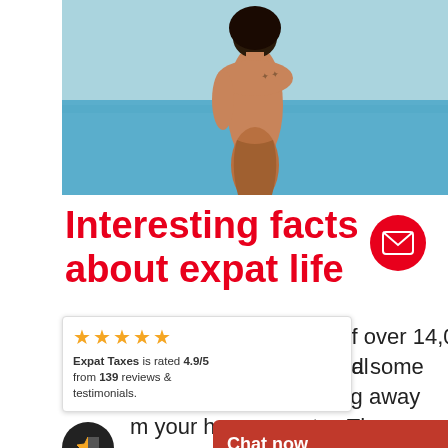[Figure (photo): Person with back turned to camera near water, with tattoo visible on back]
Interesting facts about expat life
[Figure (other): Red circular email/envelope button icon]
[Figure (other): Rating widget: 5 gold stars. Expat Taxes is rated 4.9/5 from 139 reviews & testimonials.]
ey of over 14,000 global ealed some interesting facts about expat life and living away m your home country. The survey, ondu InterN of
[Figure (other): Dark circular star/bookmark icon button]
[Figure (other): Chat now button bar in red with chat bubble icon]